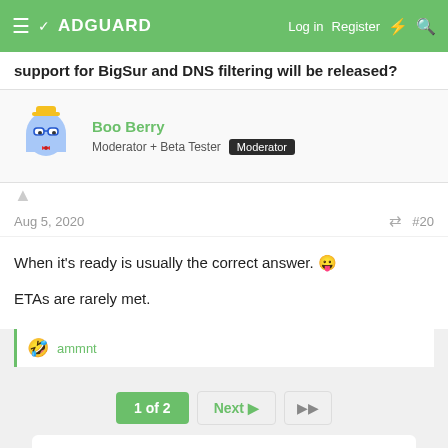ADGUARD — Log in   Register
support for BigSur and DNS filtering will be released?
Boo Berry
Moderator + Beta Tester  Moderator
Aug 5, 2020  #20
When it's ready is usually the correct answer. 😛
ETAs are rarely met.
ammnt
1 of 2   Next ▶   ▶▶
You must log in or register to reply here.